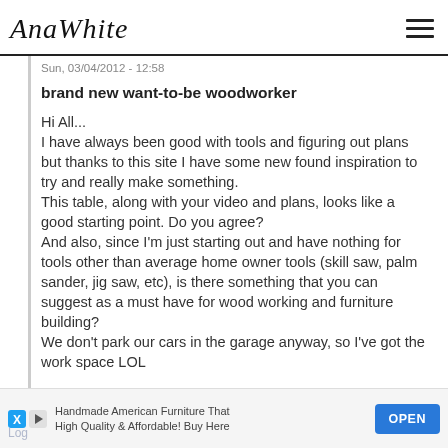AnaWhite
Sun, 03/04/2012 - 12:58
brand new want-to-be woodworker
Hi All...
I have always been good with tools and figuring out plans but thanks to this site I have some new found inspiration to try and really make something.
This table, along with your video and plans, looks like a good starting point. Do you agree?
And also, since I'm just starting out and have nothing for tools other than average home owner tools (skill saw, palm sander, jig saw, etc), is there something that you can suggest as a must have for wood working and furniture building?
We don't park our cars in the garage anyway, so I've got the work space LOL
Handmade American Furniture That High Quality & Affordable! Buy Here